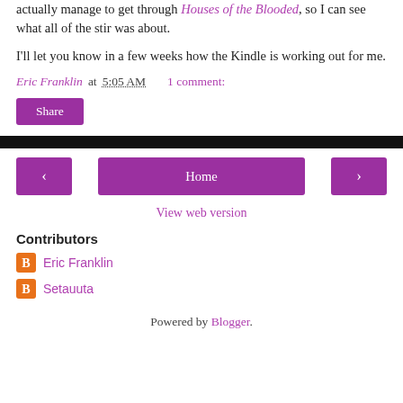actually manage to get through Houses of the Blooded, so I can see what all of the stir was about.
I'll let you know in a few weeks how the Kindle is working out for me.
Eric Franklin at 5:05 AM    1 comment:
Share
Home
View web version
Contributors
Eric Franklin
Setauuta
Powered by Blogger.